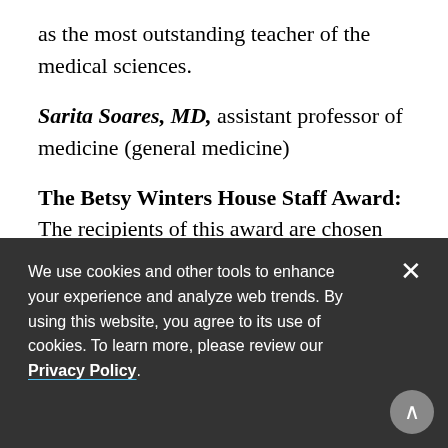as the most outstanding teacher of the medical sciences.
Sarita Soares, MD, assistant professor of medicine (general medicine)
The Betsy Winters House Staff Award: The recipients of this award are chosen by the graduating class to honor the house staff members who have made the most significant contributions to the education of medical students.
Eliza DeCroce-Movson, MD, resident, Department of Psychiatry
Jamie S., MD, Department of Urology
We use cookies and other tools to enhance your experience and analyze web trends. By using this website, you agree to its use of cookies. To learn more, please review our Privacy Policy.